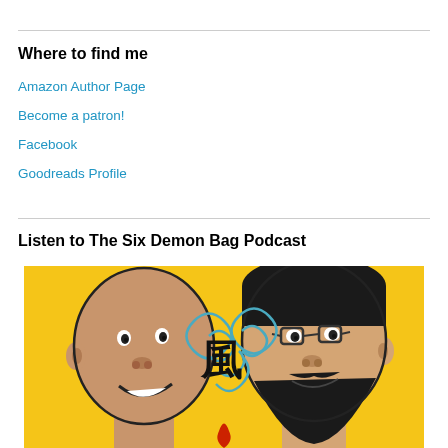Where to find me
Amazon Author Page
Become a patron!
Facebook
Goodreads Profile
Listen to The Six Demon Bag Podcast
[Figure (illustration): Cartoon illustration of two men's faces on a yellow background with a Chinese character for wind and decorative swirls between them. The left figure is bald and smiling, the right figure has dark hair, a beard, and glasses.]